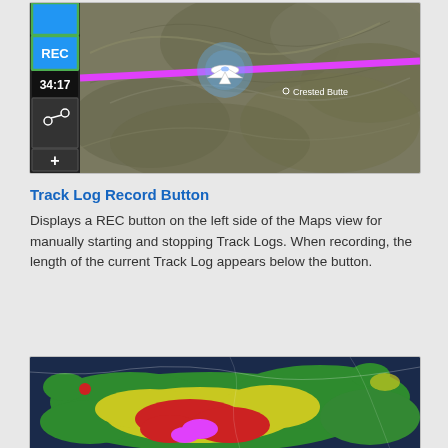[Figure (screenshot): Aviation moving map screenshot showing terrain, a magenta flight path line, an aircraft icon, and 'Crested Butte' label. Left panel shows REC button with timer 34:17, route button, and plus button.]
Track Log Record Button
Displays a REC button on the left side of the Maps view for manually starting and stopping Track Logs. When recording, the length of the current Track Log appears below the button.
[Figure (screenshot): Weather radar overlay on aviation map showing green, yellow, red, and magenta precipitation intensity zones on a dark blue background with terrain outlines.]